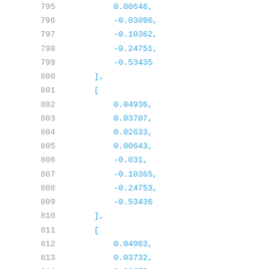795    0.00646,
796    -0.03096,
797    -0.10362,
798    -0.24751,
799    -0.53435
800    ],
801    [
802    0.04936,
803    0.03707,
804    0.02633,
805    0.00643,
806    -0.031,
807    -0.10365,
808    -0.24753,
809    -0.53436
810    ],
811    [
812    0.04963,
813    0.03732,
814    0.02653,
815    0.00662,